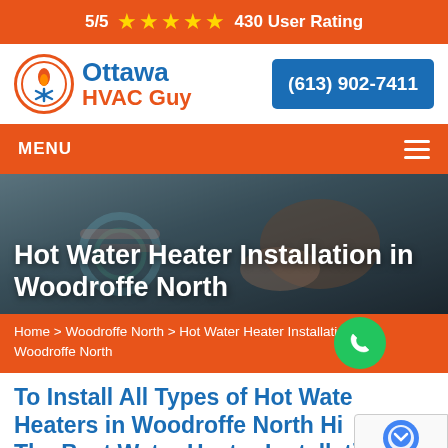5/5 ★★★★★ 430 User Rating
[Figure (logo): Ottawa HVAC Guy logo with orange circle icon and blue/orange text]
(613) 902-7411
MENU
[Figure (photo): Person's hands working on hot water heater pipe connections]
Hot Water Heater Installation in Woodroffe North
Home > Woodroffe North > Hot Water Heater Installation Woodroffe North
To Install All Types of Hot Water Heaters in Woodroffe North Hire The Best Water Heater Installation